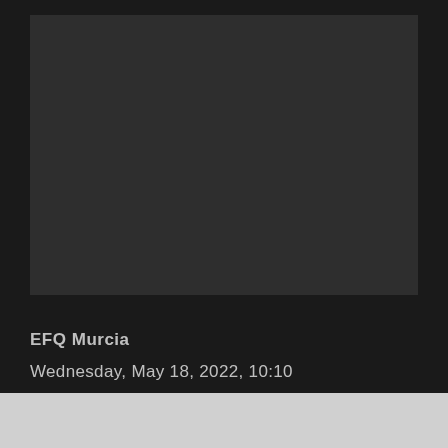[Figure (photo): Dark rectangular image placeholder at the top of the page]
EFQ Murcia
Wednesday, May 18, 2022, 10:10
[Figure (other): Cream/beige colored advertisement box]
The Satse Murcia Nursing Union celebrates International Nurses Day this year with caution, when the moments